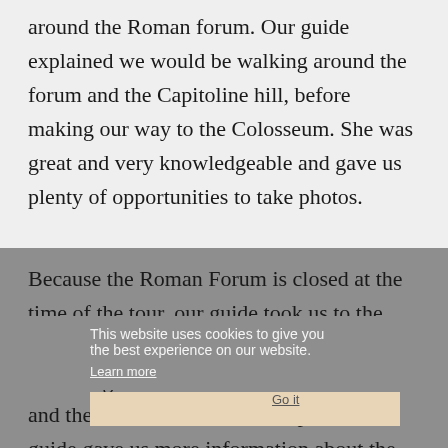around the Roman forum. Our guide explained we would be walking around the forum and the Capitoline hill, before making our way to the Colosseum. She was great and very knowledgeable and gave us plenty of opportunities to take photos.
Because the Roman Forum is closed at the time of the tour, our guide took us to the Capitoline hill from where you are treated to some great views of the Roman Forum and the Palatine Hill. On this spot, our guide gave us more information about the history of the
This website uses cookies to give you the best experience on our website. Learn more | Got it